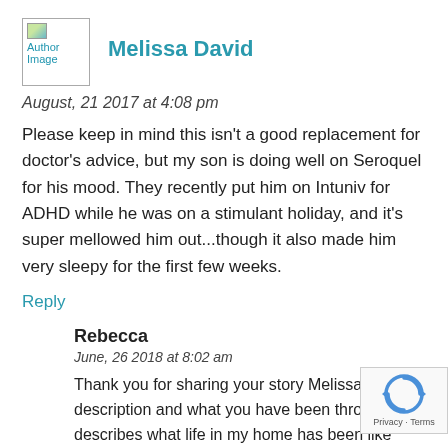[Figure (photo): Author image placeholder with small landscape icon and text 'Author Image']
Melissa David
August, 21 2017 at 4:08 pm
Please keep in mind this isn't a good replacement for doctor's advice, but my son is doing well on Seroquel for his mood. They recently put him on Intuniv for ADHD while he was on a stimulant holiday, and it's super mellowed him out...though it also made him very sleepy for the first few weeks.
Reply
Rebecca
June, 26 2018 at 8:02 am
Thank you for sharing your story Melissa. Your description and what you have been through describes what life in my home has been like several years with my now 9 year old who do finally and his diagnosis and hospitalized 1